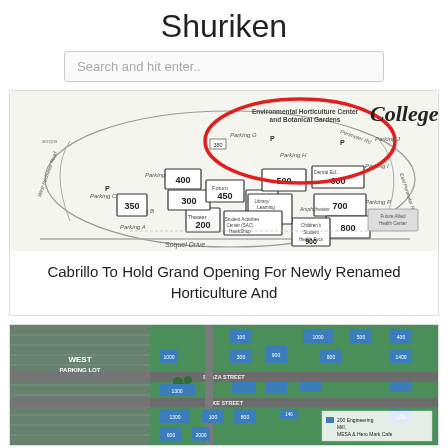Shuriken
Search and hit enter..
[Figure (map): Black and white campus map of Cabrillo College showing numbered buildings (100, 200, 300, 350, 400, 450, 500, 600, 700, 800, 900, 1000), parking lots (A, B, C, E, G, H, I, P), roads (Soquel Drive, East Perimeter Road, West Perimeter Road), and labeled facilities including Environmental Horticulture Center and Botanical Gardens (circled in red), Library/Learning Resources Center, Theater, Student Activities Center (SAC), HawkShop, Dental Education, Amphitheater, Future Allied Health Center, and Children's Student Health Services. The word 'College' is written in stylized script at the top right.]
Cabrillo To Hold Grand Opening For Newly Renamed Horticulture And
[Figure (map): Colored campus map showing blue building footprints on a green and gray background, with roads labeled including Plaza Street and Lake Street, parking lot labeled WEST PARKING LOT, and a legend in the bottom right showing building 200 as Engineering, Mill, MESA & Hero Mark Cafe.]